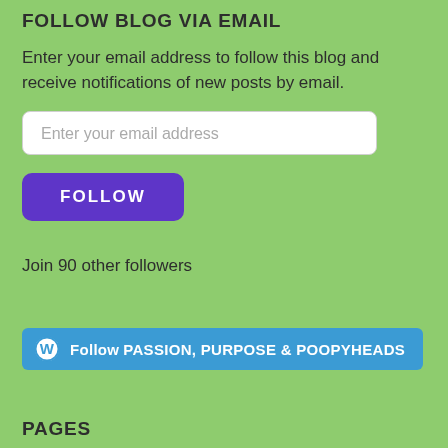FOLLOW BLOG VIA EMAIL
Enter your email address to follow this blog and receive notifications of new posts by email.
Enter your email address
FOLLOW
Join 90 other followers
[Figure (other): WordPress follow button with logo: Follow PASSION, PURPOSE & POOPYHEADS]
PAGES